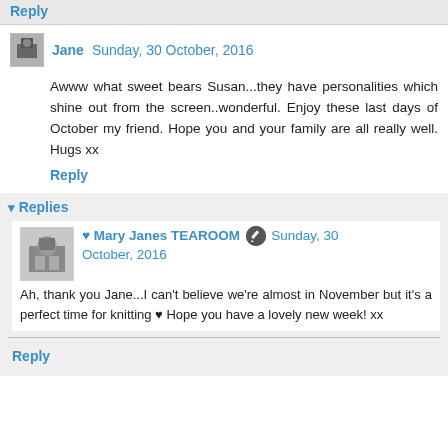Reply
Jane  Sunday, 30 October, 2016
Awww what sweet bears Susan...they have personalities which shine out from the screen..wonderful. Enjoy these last days of October my friend. Hope you and your family are all really well. Hugs xx
Reply
Replies
♥ Mary Janes TEAROOM  Sunday, 30 October, 2016
Ah, thank you Jane...I can't believe we're almost in November but it's a perfect time for knitting ♥ Hope you have a lovely new week! xx
Reply